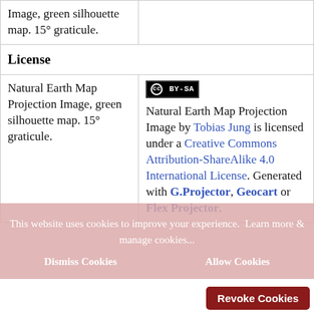| Image, green silhouette map. 15° graticule. |  |
| License |  |
| Natural Earth Map Projection Image, green silhouette map. 15° graticule. | CC BY-SA
Natural Earth Map Projection Image by Tobias Jung is licensed under a Creative Commons Attribution-ShareAlike 4.0 International License.
Generated with G.Projector, Geocart or Flex Projector. |
This website uses cookies to improve your experience.  Learn more & manage cookies...
Dismiss Cookies    Allow Cookies
Revoke Cookies